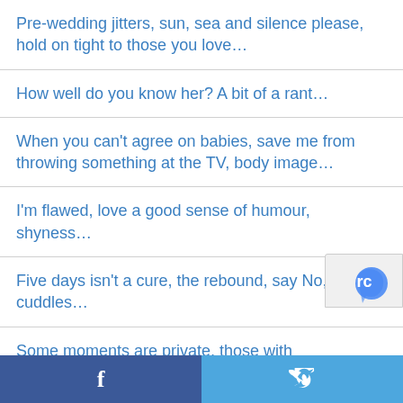Pre-wedding jitters, sun, sea and silence please, hold on tight to those you love…
How well do you know her? A bit of a rant…
When you can't agree on babies, save me from throwing something at the TV, body image…
I'm flawed, love a good sense of humour, shyness…
Five days isn't a cure, the rebound, say No, cat cuddles…
Some moments are private, those with
f  [twitter bird icon]